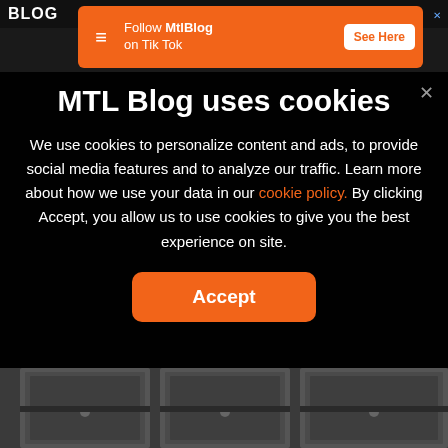[Figure (screenshot): MTL Blog logo in top left header bar]
[Figure (screenshot): Orange TikTok follow ad banner with MTL Blog logo, text 'Follow MtlBlog on Tik Tok', and 'See Here' button]
MTL Blog uses cookies
We use cookies to personalize content and ads, to provide social media features and to analyze our traffic. Learn more about how we use your data in our cookie policy. By clicking Accept, you allow us to use cookies to give you the best experience on site.
[Figure (screenshot): Orange Accept button]
[Figure (photo): Bottom portion of a building facade with ornate metal gate/door visible]